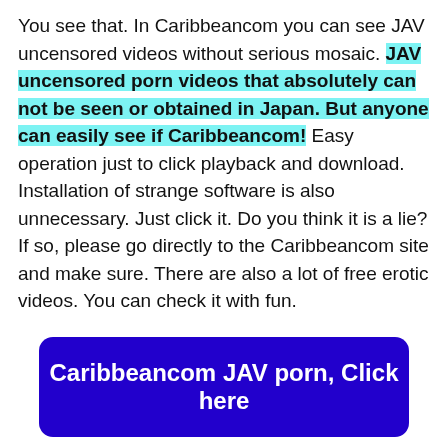You see that. In Caribbeancom you can see JAV uncensored videos without serious mosaic. JAV uncensored porn videos that absolutely can not be seen or obtained in Japan. But anyone can easily see if Caribbeancom! Easy operation just to click playback and download. Installation of strange software is also unnecessary. Just click it. Do you think it is a lie? If so, please go directly to the Caribbeancom site and make sure. There are also a lot of free erotic videos. You can check it with fun.
Caribbeancom JAV porn, Click here